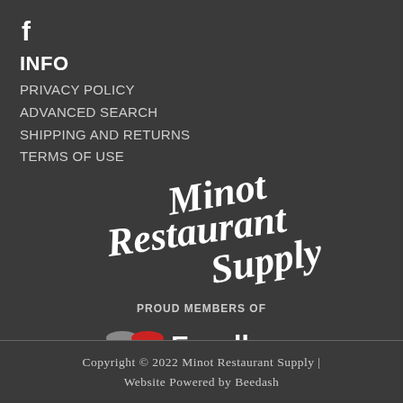[Figure (logo): Facebook 'f' icon in white]
INFO
PRIVACY POLICY
ADVANCED SEARCH
SHIPPING AND RETURNS
TERMS OF USE
[Figure (logo): Minot Restaurant Supply cursive script logo in white on dark background]
PROUD MEMBERS OF
[Figure (logo): Excell Foodservice Equipment Dealer Network logo with red and grey oval shapes]
Copyright © 2022 Minot Restaurant Supply | Website Powered by Beedash